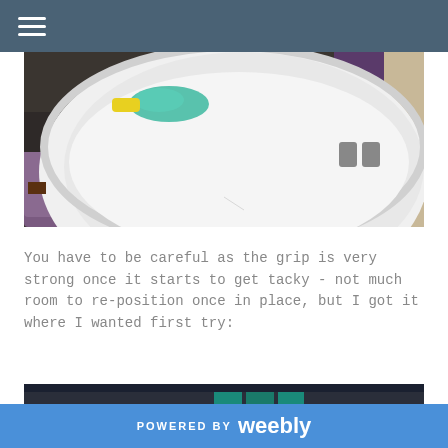[Figure (photo): Close-up photograph of a white bathtub being cleaned with teal/green soap or cleaner applied with a yellow sponge. A purple bath mat is visible on the floor. The tub has a curved shape.]
You have to be careful as the grip is very strong once it starts to get tacky - not much room to re-position once in place, but I got it where I wanted first try:
[Figure (photo): Partial photograph showing a workshop or garage space with boxes and teal/green storage containers on the floor, and the edge of a white bathtub visible on the right side.]
POWERED BY weebly